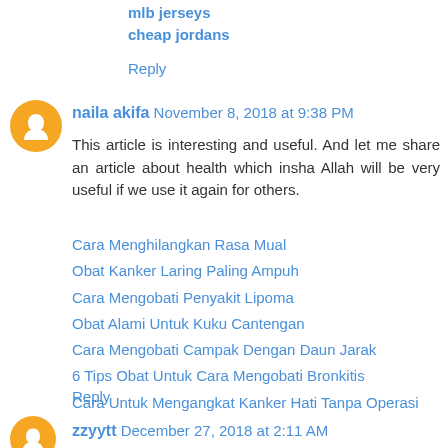mlb jerseys
cheap jordans
Reply
naila akifa  November 8, 2018 at 9:38 PM
This article is interesting and useful. And let me share an article about health which insha Allah will be very useful if we use it again for others.
Cara Menghilangkan Rasa Mual
Obat Kanker Laring Paling Ampuh
Cara Mengobati Penyakit Lipoma
Obat Alami Untuk Kuku Cantengan
Cara Mengobati Campak Dengan Daun Jarak
6 Tips Obat Untuk Cara Mengobati Bronkitis
Cara Untuk Mengangkat Kanker Hati Tanpa Operasi
Reply
zzyytt  December 27, 2018 at 2:11 AM